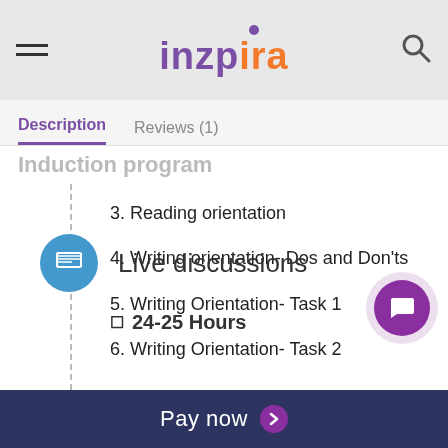inzpira
Description  Reviews (1)
3. Reading orientation
4. Writing orientation- Dos and Don'ts
5. Writing Orientation- Task 1
6. Writing Orientation- Task 2
Live discussions
24-25 Hours
Pay now